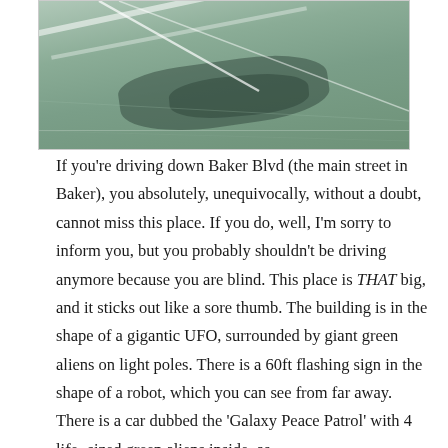[Figure (photo): Aerial photograph of a flat, arid landscape with white diagonal lines (possibly roads or tracks) across a green-grey ground, with dark patches or burn marks visible.]
If you're driving down Baker Blvd (the main street in Baker), you absolutely, unequivocally, without a doubt, cannot miss this place. If you do, well, I'm sorry to inform you, but you probably shouldn't be driving anymore because you are blind. This place is THAT big, and it sticks out like a sore thumb. The building is in the shape of a gigantic UFO, surrounded by giant green aliens on light poles. There is a 60ft flashing sign in the shape of a robot, which you can see from far away. There is a car dubbed the 'Galaxy Peace Patrol' with 4 life- sized green aliens inside, as